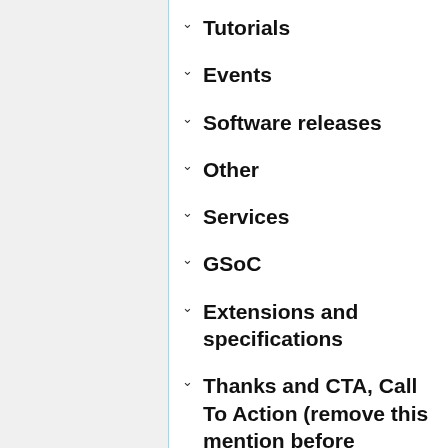Tutorials
Events
Software releases
Other
Services
GSoC
Extensions and specifications
Thanks and CTA, Call To Action (remove this mention before publishing)